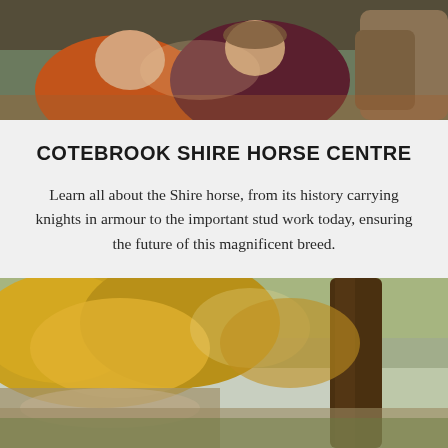[Figure (photo): Two children in winter jackets looking up and petting a horse, close-up outdoor photo]
COTEBROOK SHIRE HORSE CENTRE
Learn all about the Shire horse, from its history carrying knights in armour to the important stud work today, ensuring the future of this magnificent breed.
[Figure (photo): Autumn woodland path with yellow-orange trees and a large tree trunk in foreground, with a lake or water visible in the background]